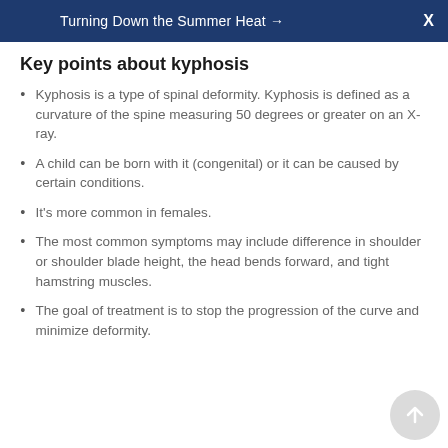Turning Down the Summer Heat →  X
Key points about kyphosis
Kyphosis is a type of spinal deformity. Kyphosis is defined as a curvature of the spine measuring 50 degrees or greater on an X-ray.
A child can be born with it (congenital) or it can be caused by certain conditions.
It's more common in females.
The most common symptoms may include difference in shoulder or shoulder blade height, the head bends forward, and tight hamstring muscles.
The goal of treatment is to stop the progression of the curve and minimize deformity.